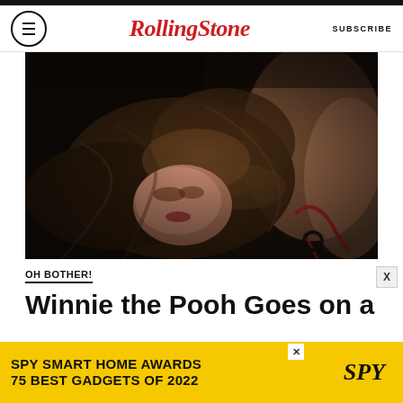Rolling Stone | SUBSCRIBE
[Figure (photo): Woman with long wavy brown hair lying down, wearing a red swimsuit/bikini, dark background, dramatic lighting]
OH BOTHER!
Winnie the Pooh Goes on a
[Figure (infographic): Advertisement banner: SPY SMART HOME AWARDS / 75 BEST GADGETS OF 2022 with SPY logo on yellow background]